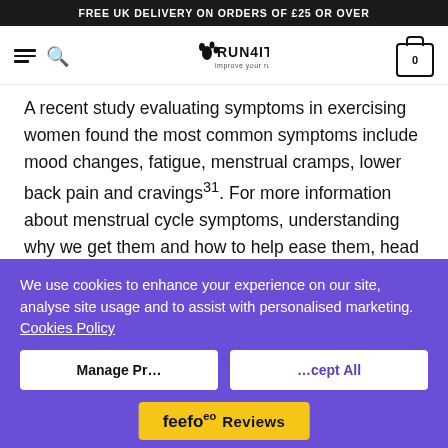FREE UK DELIVERY ON ORDERS OF £25 OR OVER
[Figure (logo): RUN4IT logo with footprint icon and tagline 'improve your run', with hamburger menu, search icon, and cart icon (0)]
A recent study evaluating symptoms in exercising women found the most common symptoms include mood changes, fatigue, menstrual cramps, lower back pain and cravings31. For more information about menstrual cycle symptoms, understanding why we get them and how to help ease them, head to Series 1, Episode 3 of the Female Athlete Podcast.
We use cookies to enhance your experience on our site, analyse site usage and to assist with personalised marketing. Cookies Policy
Manage Preferences
Accept All